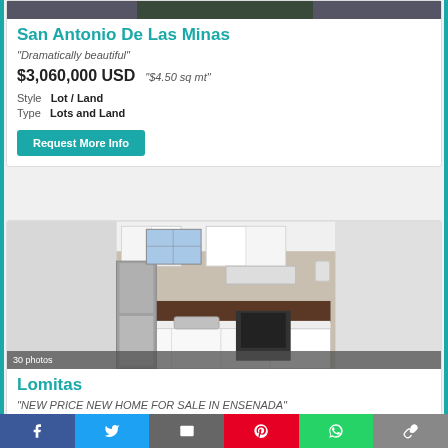[Figure (photo): Dark photo banner with '4 photos' label at top of first listing card]
San Antonio De Las Minas
"Dramatically beautiful"
$3,060,000 USD   "$4.50 sq mt"
Style   Lot / Land
Type   Lots and Land
Request More Info
[Figure (photo): Interior kitchen photo showing white cabinets, stainless steel refrigerator, gas stove, dark wood backsplash, and window. Label shows '30 photos'.]
Lomitas
"NEW PRICE NEW HOME FOR SALE IN ENSENADA"
Social sharing bar with Facebook, Twitter, Email, Pinterest, WhatsApp, and Link buttons